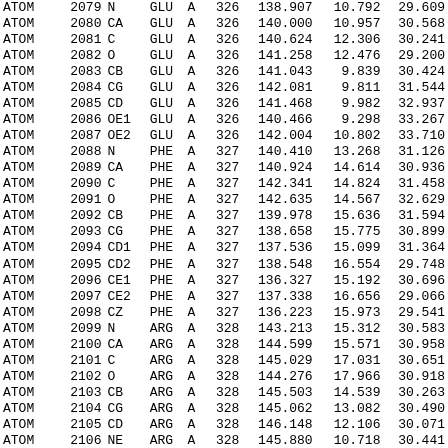| Record | Serial | Name | Res | Ch | Seq | X | Y | Z |
| --- | --- | --- | --- | --- | --- | --- | --- | --- |
| ATOM | 2079 | N | GLU | A | 326 | 138.907 | 10.792 | 29.609 |
| ATOM | 2080 | CA | GLU | A | 326 | 140.000 | 10.957 | 30.568 |
| ATOM | 2081 | C | GLU | A | 326 | 140.624 | 12.306 | 30.241 |
| ATOM | 2082 | O | GLU | A | 326 | 141.258 | 12.476 | 29.200 |
| ATOM | 2083 | CB | GLU | A | 326 | 141.043 | 9.839 | 30.424 |
| ATOM | 2084 | CG | GLU | A | 326 | 142.081 | 9.811 | 31.544 |
| ATOM | 2085 | CD | GLU | A | 326 | 141.468 | 9.982 | 32.937 |
| ATOM | 2086 | OE1 | GLU | A | 326 | 140.466 | 9.298 | 33.267 |
| ATOM | 2087 | OE2 | GLU | A | 326 | 142.004 | 10.802 | 33.710 |
| ATOM | 2088 | N | PHE | A | 327 | 140.410 | 13.268 | 31.126 |
| ATOM | 2089 | CA | PHE | A | 327 | 140.924 | 14.614 | 30.936 |
| ATOM | 2090 | C | PHE | A | 327 | 142.341 | 14.824 | 31.458 |
| ATOM | 2091 | O | PHE | A | 327 | 142.635 | 14.567 | 32.629 |
| ATOM | 2092 | CB | PHE | A | 327 | 139.978 | 15.636 | 31.594 |
| ATOM | 2093 | CG | PHE | A | 327 | 138.658 | 15.775 | 30.899 |
| ATOM | 2094 | CD1 | PHE | A | 327 | 137.536 | 15.099 | 31.364 |
| ATOM | 2095 | CD2 | PHE | A | 327 | 138.548 | 16.554 | 29.748 |
| ATOM | 2096 | CE1 | PHE | A | 327 | 136.327 | 15.192 | 30.696 |
| ATOM | 2097 | CE2 | PHE | A | 327 | 137.338 | 16.656 | 29.066 |
| ATOM | 2098 | CZ | PHE | A | 327 | 136.223 | 15.973 | 29.541 |
| ATOM | 2099 | N | ARG | A | 328 | 143.213 | 15.312 | 30.583 |
| ATOM | 2100 | CA | ARG | A | 328 | 144.599 | 15.571 | 30.958 |
| ATOM | 2101 | C | ARG | A | 328 | 145.029 | 17.031 | 30.651 |
| ATOM | 2102 | O | ARG | A | 328 | 144.276 | 17.966 | 30.918 |
| ATOM | 2103 | CB | ARG | A | 328 | 145.503 | 14.539 | 30.263 |
| ATOM | 2104 | CG | ARG | A | 328 | 145.062 | 13.082 | 30.490 |
| ATOM | 2105 | CD | ARG | A | 328 | 146.148 | 12.106 | 30.071 |
| ATOM | 2106 | NE | ARG | A | 328 | 145.880 | 10.718 | 30.441 |
| ATOM | 2107 | CZ | ARG | A | 328 | 145.114 | 9.887 | 29.740 |
| ATOM | 2108 | NH1 | ARG | A | 328 | 144.526 | 10.295 | 28.623 |